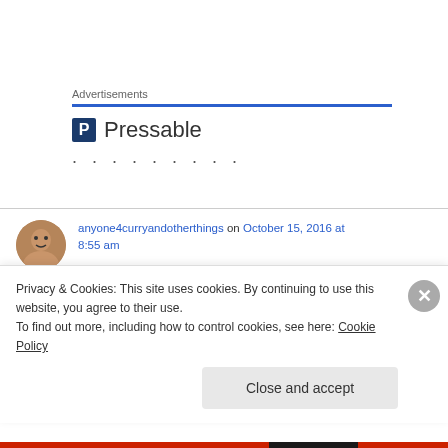Advertisements
[Figure (logo): Pressable logo with blue P icon and Pressable wordmark, followed by dotted loading indicator]
anyone4curryandotherthings on October 15, 2016 at 8:55 am
Of course you are right, the rum just give this dish a beautiful flavour and it also sits with the...
Privacy & Cookies: This site uses cookies. By continuing to use this website, you agree to their use.
To find out more, including how to control cookies, see here: Cookie Policy
Close and accept